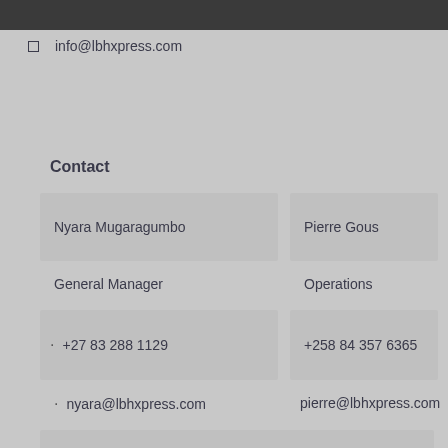info@lbhxpress.com
Contact
Nyara Mugaragumbo
General Manager
+27 83 288 1129
nyara@lbhxpress.com
Pierre Gous
Operations
+258 84 357 6365
pierre@lbhxpress.com